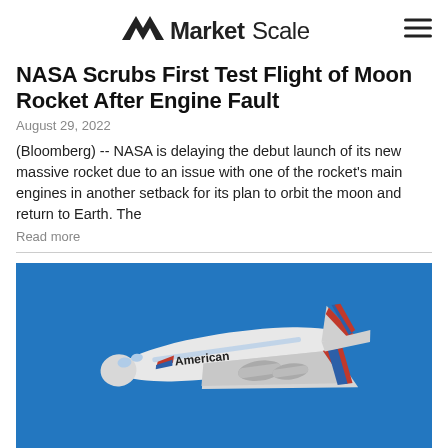MarketScale
NASA Scrubs First Test Flight of Moon Rocket After Engine Fault
August 29, 2022
(Bloomberg) -- NASA is delaying the debut launch of its new massive rocket due to an issue with one of the rocket's main engines in another setback for its plan to orbit the moon and return to Earth. The
Read more
[Figure (photo): American Airlines Boeing 777 aircraft flying against a blue sky background, viewed from slightly below at an angle showing the underside and tail with red, white and blue livery.]